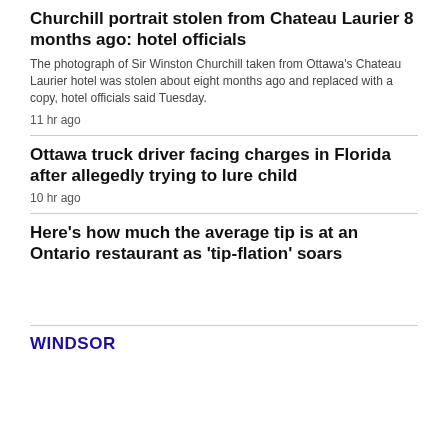Churchill portrait stolen from Chateau Laurier 8 months ago: hotel officials
The photograph of Sir Winston Churchill taken from Ottawa's Chateau Laurier hotel was stolen about eight months ago and replaced with a copy, hotel officials said Tuesday.
11 hr ago
Ottawa truck driver facing charges in Florida after allegedly trying to lure child
10 hr ago
Here's how much the average tip is at an Ontario restaurant as 'tip-flation' soars
WINDSOR